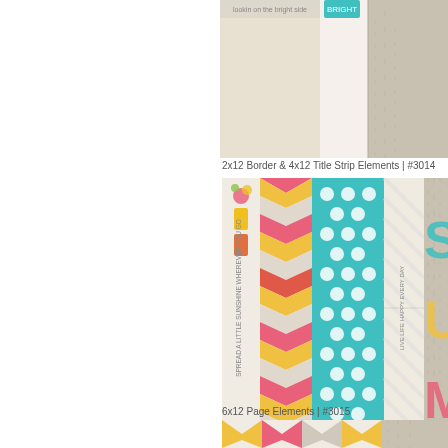[Figure (illustration): Partial view of scrapbook border/title strip elements at top of page, cut off]
2x12 Border & 4x12 Title Strip Elements | #3014
[Figure (illustration): 2x12 Border & 4x12 Title Strip Elements product #3014 showing colorful scrapbook strips with chevron, polka dot, stripe patterns in teal, pink, yellow, gray, text strips with summer phrases]
6x12 Page Elements | #3015
[Figure (illustration): Partial view of 6x12 Page Elements #3015 showing chevron patterns in yellow, pink, gray on cream/wood background, cut off at bottom]